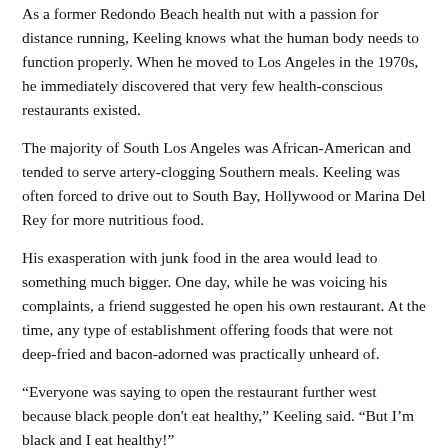As a former Redondo Beach health nut with a passion for distance running, Keeling knows what the human body needs to function properly. When he moved to Los Angeles in the 1970s, he immediately discovered that very few health-conscious restaurants existed.
The majority of South Los Angeles was African-American and tended to serve artery-clogging Southern meals. Keeling was often forced to drive out to South Bay, Hollywood or Marina Del Rey for more nutritious food.
His exasperation with junk food in the area would lead to something much bigger. One day, while he was voicing his complaints, a friend suggested he open his own restaurant. At the time, any type of establishment offering foods that were not deep-fried and bacon-adorned was practically unheard of.
“Everyone was saying to open the restaurant further west because black people don't eat healthy,” Keeling said. “But I’m black and I eat healthy!”
In 1991, Keeling opened Simply Wholesome. For the first few years...